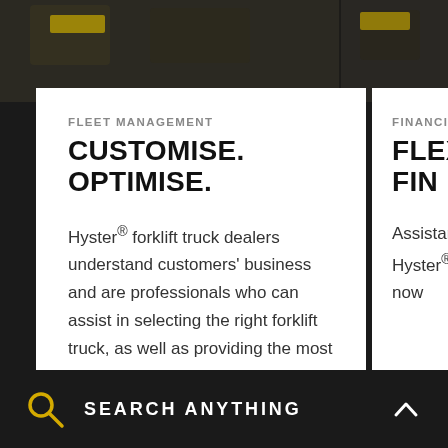[Figure (photo): Dark background photo strip at top showing forklift-related imagery]
FLEET MANAGEMENT
CUSTOMISE. OPTIMISE.
Hyster® forklift truck dealers understand customers' business and are professionals who can assist in selecting the right forklift truck, as well as providing the most comprehensive support and service in the industry.
FINANCING
FLEXIBLE FIN...
Assistance in f... Hyster® forklift... now
SEARCH ANYTHING